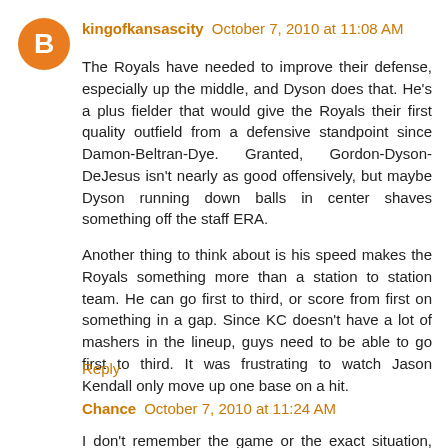kingofkansascity October 7, 2010 at 11:08 AM
The Royals have needed to improve their defense, especially up the middle, and Dyson does that. He's a plus fielder that would give the Royals their first quality outfield from a defensive standpoint since Damon-Beltran-Dye. Granted, Gordon-Dyson-DeJesus isn't nearly as good offensively, but maybe Dyson running down balls in center shaves something off the staff ERA.

Another thing to think about is his speed makes the Royals something more than a station to station team. He can go first to third, or score from first on something in a gap. Since KC doesn't have a lot of mashers in the lineup, guys need to be able to go first to third. It was frustrating to watch Jason Kendall only move up one base on a hit.
Reply
Chance October 7, 2010 at 11:24 AM
I don't remember the game or the exact situation, but I saw